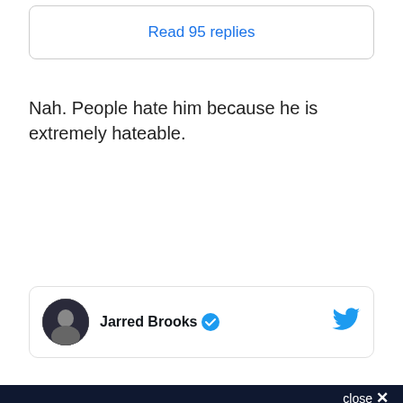Read 95 replies
Nah. People hate him because he is extremely hateable.
[Figure (other): Tweet card showing Jarred Brooks with verified badge and Twitter bird icon]
close ×
Sign up for the MMA Fighting Daily Roundup newsletter!
A daily roundup of all your fighting news from MMA Fighting
Email (required)
SUBSCRIBE
By submitting your email, you agree to our Terms and Privacy Notice. You can opt out at any time. This site is protected by reCAPTCHA and the Google Privacy Policy and Terms of Service apply.